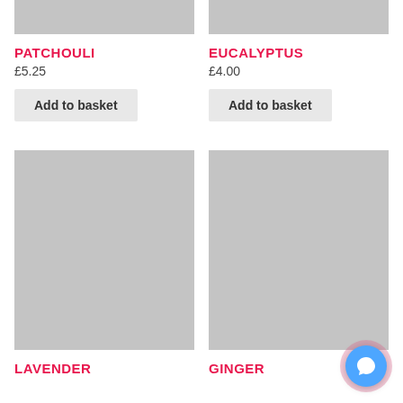[Figure (photo): Gray placeholder image for Patchouli product (top, cropped)]
[Figure (photo): Gray placeholder image for Eucalyptus product (top, cropped)]
PATCHOULI
EUCALYPTUS
£5.25
£4.00
Add to basket
Add to basket
[Figure (photo): Gray placeholder image for Lavender product]
[Figure (photo): Gray placeholder image for Ginger product]
LAVENDER
GINGER